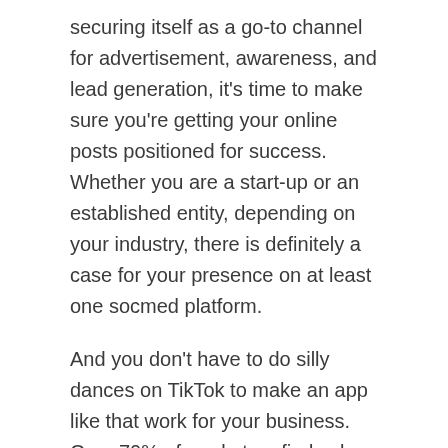securing itself as a go-to channel for advertisement, awareness, and lead generation, it's time to make sure you're getting your online posts positioned for success. Whether you are a start-up or an established entity, depending on your industry, there is definitely a case for your presence on at least one socmed platform.
And you don't have to do silly dances on TikTok to make an app like that work for your business. Over 70% of marketers find value and ROI in social media investments, and many do that over one or just a couple of channels, posting valuable content regularly to establish a core audience that follows and buys.
Here are a few ways to up your game today: